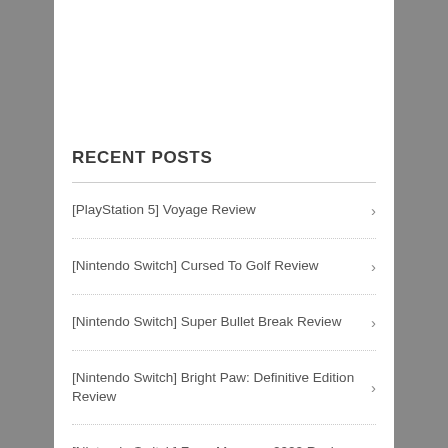RECENT POSTS
[PlayStation 5] Voyage Review
[Nintendo Switch] Cursed To Golf Review
[Nintendo Switch] Super Bullet Break Review
[Nintendo Switch] Bright Paw: Definitive Edition Review
[Nintendo Switch] Farm Manager 2022 Review